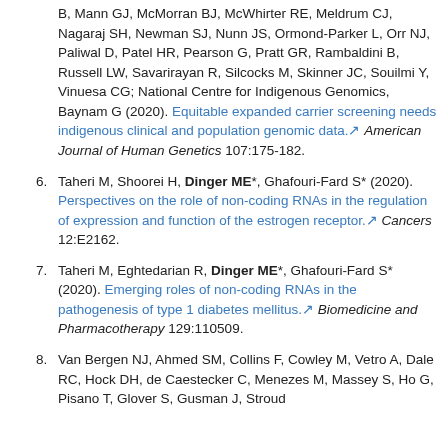(continuation) B, Mann GJ, McMorran BJ, McWhirter RE, Meldrum CJ, Nagaraj SH, Newman SJ, Nunn JS, Ormond-Parker L, Orr NJ, Paliwal D, Patel HR, Pearson G, Pratt GR, Rambaldini B, Russell LW, Savarirayan R, Silcocks M, Skinner JC, Souilmi Y, Vinuesa CG; National Centre for Indigenous Genomics, Baynam G (2020). Equitable expanded carrier screening needs indigenous clinical and population genomic data. American Journal of Human Genetics 107:175-182.
6. Taheri M, Shoorei H, Dinger ME*, Ghafouri-Fard S* (2020). Perspectives on the role of non-coding RNAs in the regulation of expression and function of the estrogen receptor. Cancers 12:E2162.
7. Taheri M, Eghtedarian R, Dinger ME*, Ghafouri-Fard S* (2020). Emerging roles of non-coding RNAs in the pathogenesis of type 1 diabetes mellitus. Biomedicine and Pharmacotherapy 129:110509.
8. Van Bergen NJ, Ahmed SM, Collins F, Cowley M, Vetro A, Dale RC, Hock DH, de Caestecker C, Menezes M, Massey S, Ho G, Pisano T, Glover S, Gusman J, Stroud